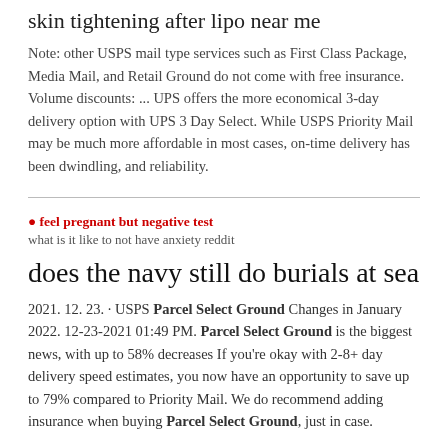skin tightening after lipo near me
Note: other USPS mail type services such as First Class Package, Media Mail, and Retail Ground do not come with free insurance. Volume discounts: ... UPS offers the more economical 3-day delivery option with UPS 3 Day Select. While USPS Priority Mail may be much more affordable in most cases, on-time delivery has been dwindling, and reliability.
feel pregnant but negative test
what is it like to not have anxiety reddit
does the navy still do burials at sea
2021. 12. 23. · USPS Parcel Select Ground Changes in January 2022. 12-23-2021 01:49 PM. Parcel Select Ground is the biggest news, with up to 58% decreases If you're okay with 2-8+ day delivery speed estimates, you now have an opportunity to save up to 79% compared to Priority Mail. We do recommend adding insurance when buying Parcel Select Ground, just in case.